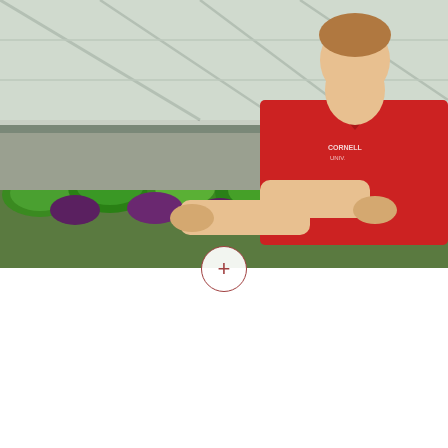[Figure (photo): Person in red Cornell shirt tending to leafy green plants in a greenhouse setting]
CALS MAGAZINE        APRIL 24, 2020
NEWS
New specializations accelerate growth of MPS programs
School of Integrative Plant Science +